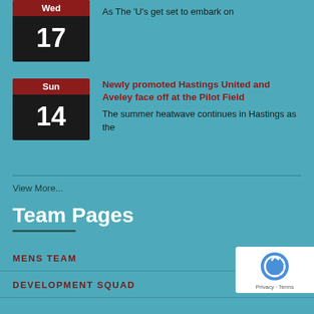[Figure (other): Calendar badge showing Wed 17 (partially visible at top)]
As The ‘U’s get set to embark on
[Figure (other): Calendar badge showing Sun 14]
Newly promoted Hastings United and Aveley face off at the Pilot Field
The summer heatwave continues in Hastings as the
View More...
Team Pages
MENS TEAM
DEVELOPMENT SQUAD